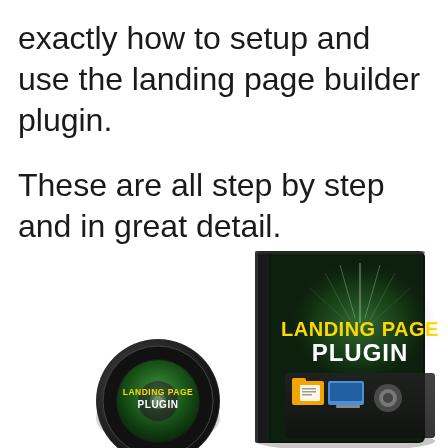exactly how to setup and use the landing page builder plugin.

These are all step by step and in great detail.
[Figure (illustration): A DVD case and disc for 'Landing Page Plugin' product. The case has a dark background with green glow, yellow bold text reading 'LANDING PAGE PLUGIN', and icons of folders and a computer. The disc in front also reads 'LANDING PAGE PLUGIN'.]